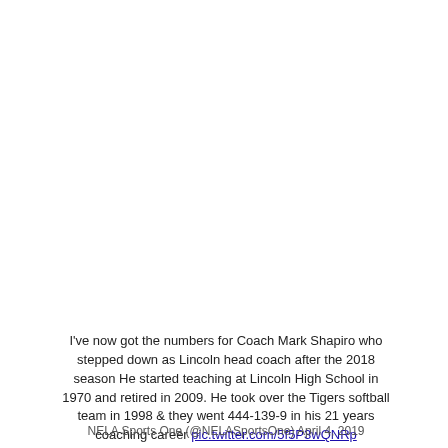I've now got the numbers for Coach Mark Shapiro who stepped down as Lincoln head coach after the 2018 season He started teaching at Lincoln High School in 1970 and retired in 2009. He took over the Tigers softball team in 1998 & they went 444-139-9 in his 21 years coaching career pic.twitter.com/5f5P3wQNRp
NELA Sports One (@NELASportsOne) April 4, 2019